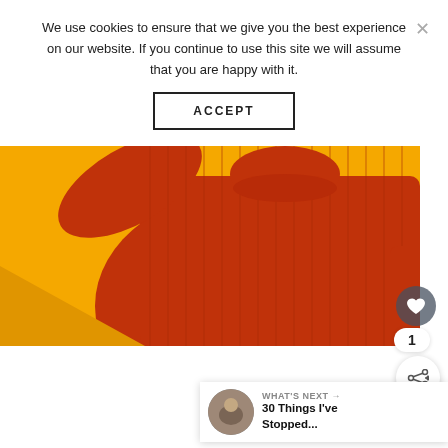We use cookies to ensure that we give you the best experience on our website. If you continue to use this site we will assume that you are happy with it.
ACCEPT
[Figure (photo): A person wearing a ribbed red/burnt-orange turtleneck sweater against a bright yellow/orange background. Only the torso and one arm raised behind the head are visible.]
WHAT'S NEXT → 30 Things I've Stopped...